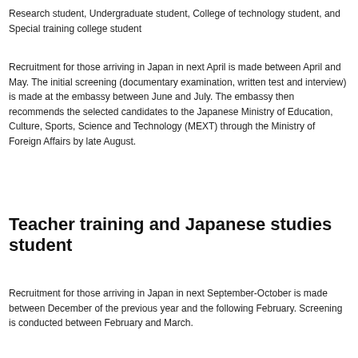Research student, Undergraduate student, College of technology student, and Special training college student
Recruitment for those arriving in Japan in next April is made between April and May. The initial screening (documentary examination, written test and interview) is made at the embassy between June and July. The embassy then recommends the selected candidates to the Japanese Ministry of Education, Culture, Sports, Science and Technology (MEXT) through the Ministry of Foreign Affairs by late August.
Teacher training and Japanese studies student
Recruitment for those arriving in Japan in next September-October is made between December of the previous year and the following February. Screening is conducted between February and March.